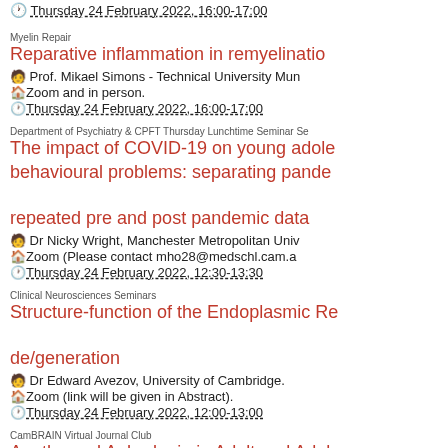🕐 Thursday 24 February 2022, 16:00-17:00
Myelin Repair
Reparative inflammation in remyelination
🧑 Prof. Mikael Simons - Technical University Munich
🏠 Zoom and in person.
🕐 Thursday 24 February 2022, 16:00-17:00
Department of Psychiatry & CPFT Thursday Lunchtime Seminar Series
The impact of COVID-19 on young adolescents' behavioural problems: separating pandemic effects using repeated pre and post pandemic data
🧑 Dr Nicky Wright, Manchester Metropolitan University
🏠 Zoom (Please contact mho28@medschl.cam.ac.uk)
🕐 Thursday 24 February 2022, 12:30-13:30
Clinical Neurosciences Seminars
Structure-function of the Endoplasmic Reticulum in neuronal de/generation
🧑 Dr Edward Avezov, University of Cambridge.
🏠 Zoom (link will be given in Abstract).
🕐 Thursday 24 February 2022, 12:00-13:00
CamBRAIN Virtual Journal Club
Apathy and Anhedonia in Adult and Adolescent Controls Before and During the COVID-19